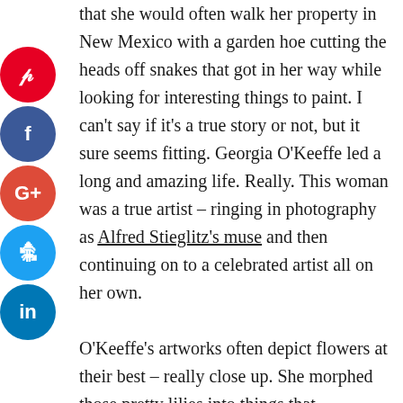that she would often walk her property in New Mexico with a garden hoe cutting the heads off snakes that got in her way while looking for interesting things to paint. I can't say if it's a true story or not, but it sure seems fitting. Georgia O'Keeffe led a long and amazing life. Really. This woman was a true artist – ringing in photography as Alfred Stieglitz's muse and then continuing on to a celebrated artist all on her own.

O'Keeffe's artworks often depict flowers at their best – really close up. She morphed those pretty lilies into things that transported the viewer from